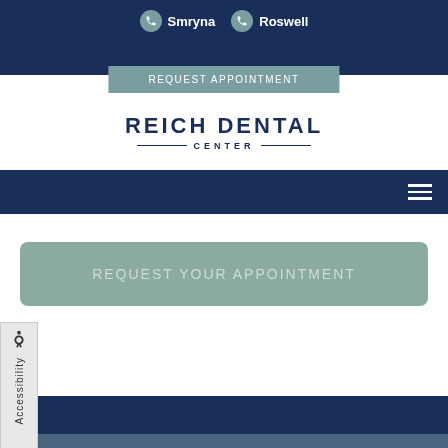Smryna  Roswell
REQUEST APPOINTMENT
REICH DENTAL CENTER
[Figure (screenshot): Hamburger menu icon (three horizontal lines) in navy navigation bar]
REQUEST YOUR APPOINTMENT
[Figure (infographic): Accessibility tab with wheelchair icon and vertical 'Accessibility' label on left side of page]